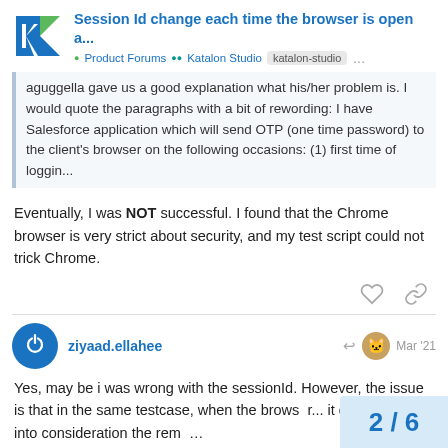Session Id change each time the browser is open a...
Product Forums  Katalon Studio  katalon-studio  ...
aguggella gave us a good explanation what his/her problem is. I would quote the paragraphs with a bit of rewording: I have Salesforce application which will send OTP (one time password) to the client's browser on the following occasions: (1) first time of loggin...
Eventually, I was NOT successful. I found that the Chrome browser is very strict about security, and my test script could not trick Chrome.
ziyaad.ellahee  Mar '21
Yes, may be i was wrong with the sessionId. However, the issue is that in the same testcase, when the browser... it does not take into consideration the rem...
2 / 6